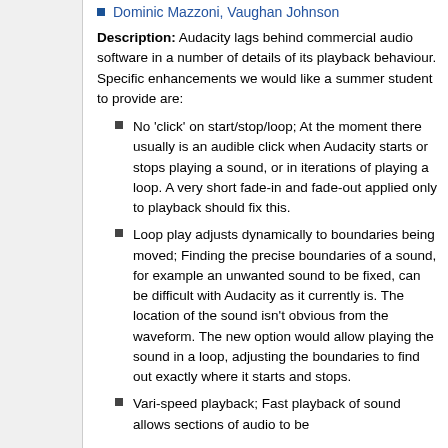Dominic Mazzoni, Vaughan Johnson
Description: Audacity lags behind commercial audio software in a number of details of its playback behaviour. Specific enhancements we would like a summer student to provide are:
No 'click' on start/stop/loop; At the moment there usually is an audible click when Audacity starts or stops playing a sound, or in iterations of playing a loop. A very short fade-in and fade-out applied only to playback should fix this.
Loop play adjusts dynamically to boundaries being moved; Finding the precise boundaries of a sound, for example an unwanted sound to be fixed, can be difficult with Audacity as it currently is. The location of the sound isn't obvious from the waveform. The new option would allow playing the sound in a loop, adjusting the boundaries to find out exactly where it starts and stops.
Vari-speed playback; Fast playback of sound allows sections of audio to be